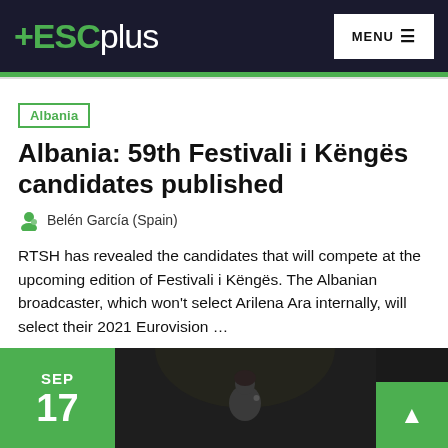+ESCplus MENU
Albania
Albania: 59th Festivali i Këngës candidates published
Belén García (Spain)
RTSH has revealed the candidates that will compete at the upcoming edition of Festivali i Këngës. The Albanian broadcaster, which won't select Arilena Ara internally, will select their 2021 Eurovision …
[Figure (photo): Bottom strip showing a person performing, with green date badge (Sep 17) and scroll-to-top button]